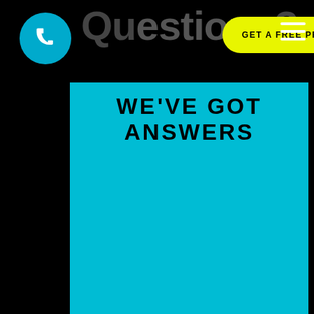Questions? GET A FREE PROPOSAL
WE'VE GOT ANSWERS